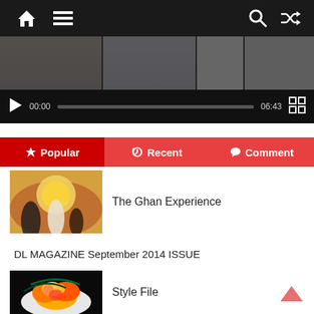[Figure (screenshot): Top navigation bar with home icon, hamburger menu, search icon and shuffle icon on dark background with red top line]
[Figure (screenshot): Video player strip showing multiple video thumbnails and playback controls with time 00:00 and 06:43]
[Figure (screenshot): Tab navigation bar with Popular (dark red, active), Recent, and Comment tabs in red]
The Ghan Experience
[Figure (photo): Photo of people silhouetted against a sunset outdoors]
DL MAGAZINE September 2014 ISSUE
Style File
[Figure (photo): Photo of a colorful floral hat accessory on black background]